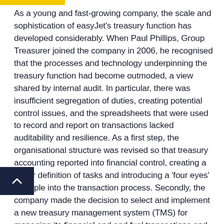As a young and fast-growing company, the scale and sophistication of easyJet's treasury function has developed considerably. When Paul Phillips, Group Treasurer joined the company in 2006, he recognised that the processes and technology underpinning the treasury function had become outmoded, a view shared by internal audit. In particular, there was insufficient segregation of duties, creating potential control issues, and the spreadsheets that were used to record and report on transactions lacked auditability and resilience. As a first step, the organisational structure was revised so that treasury accounting reported into financial control, creating a better definition of tasks and introducing a 'four eyes' principle into the transaction process. Secondly, the company made the decision to select and implement a new treasury management system (TMS) for managing its financial and and fuel transactions and removing the dependence on